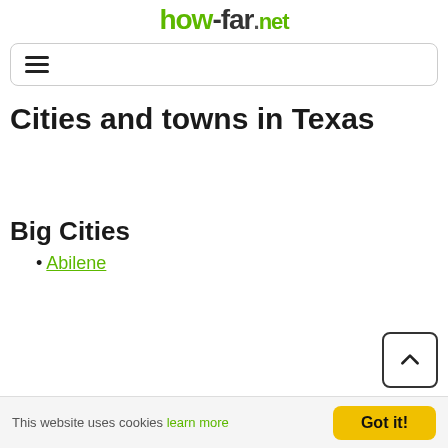how-far.net
[Figure (other): Navigation hamburger menu icon inside a rounded rectangle border]
Cities and towns in Texas
Big Cities
Abilene
This website uses cookies learn more  Got it!